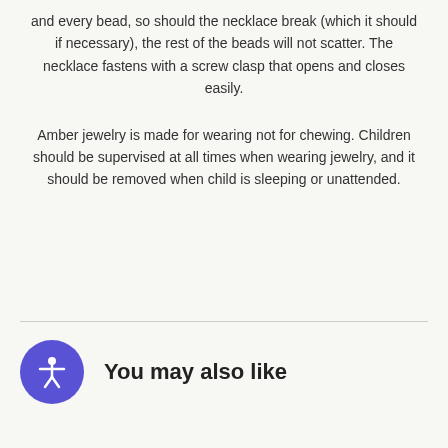and every bead, so should the necklace break (which it should if necessary), the rest of the beads will not scatter. The necklace fastens with a screw clasp that opens and closes easily.
Amber jewelry is made for wearing not for chewing. Children should be supervised at all times when wearing jewelry, and it should be removed when child is sleeping or unattended.
You may also like